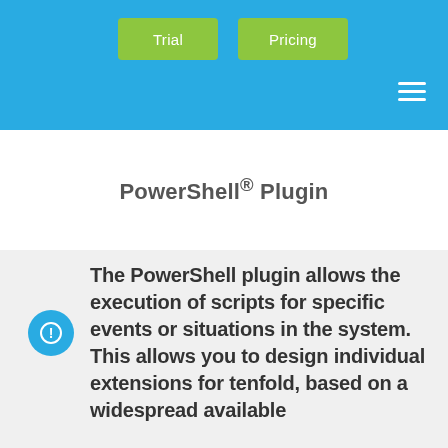Trial | Pricing
PowerShell® Plugin
The PowerShell plugin allows the execution of scripts for specific events or situations in the system. This allows you to design individual extensions for tenfold, based on a widespread available